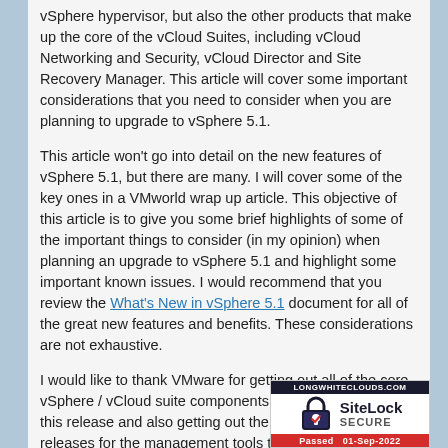vSphere hypervisor, but also the other products that make up the core of the vCloud Suites, including vCloud Networking and Security, vCloud Director and Site Recovery Manager. This article will cover some important considerations that you need to consider when you are planning to upgrade to vSphere 5.1.
This article won't go into detail on the new features of vSphere 5.1, but there are many. I will cover some of the key ones in a VMworld wrap up article. This objective of this article is to give you some brief highlights of some of the important things to consider (in my opinion) when planning an upgrade to vSphere 5.1 and highlight some important known issues. I would recommend that you review the What's New in vSphere 5.1 document for all of the great new features and benefits. These considerations are not exhaustive.
I would like to thank VMware for getting out all of the core vSphere / vCloud suite components at the same time with this release and also getting out the minor compatibility releases for the management tools that integrate into them as well. This will make the upgrade planning and process much easier for customers overall and means that customers can take advantage of the additional benefits in vSphere 5.1.
[Figure (logo): SiteLock SECURE badge with LONGWHITECLOUDS.COM domain label, padlock icon, and Passed 01-Sep-2022 green bar]